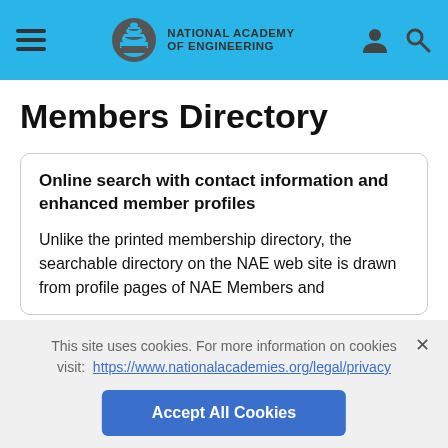National Academy of Engineering
Members Directory
Online search with contact information and enhanced member profiles
Unlike the printed membership directory, the searchable directory on the NAE web site is drawn from profile pages of NAE Members and
This site uses cookies. For more information on cookies visit: https://www.nationalacademies.org/legal/privacy
Accept All Cookies